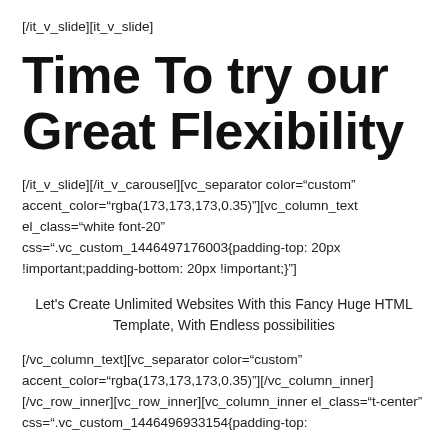[/it_v_slide][it_v_slide]
Time To try our Great Flexibility
[/it_v_slide][/it_v_carousel][vc_separator color="custom" accent_color="rgba(173,173,173,0.35)"][vc_column_text el_class="white font-20" css=".vc_custom_1446497176003{padding-top: 20px !important;padding-bottom: 20px !important;}"]
Let's Create Unlimited Websites With this Fancy Huge HTML Template, With Endless possibilities
[/vc_column_text][vc_separator color="custom" accent_color="rgba(173,173,173,0.35)"][/vc_column_inner][/vc_row_inner][vc_row_inner][vc_column_inner el_class="t-center" css=".vc_custom_1446496933154{padding-top: